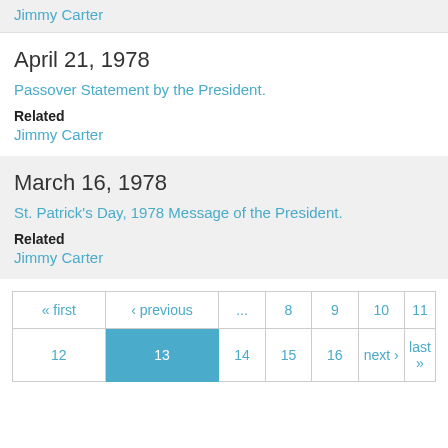Jimmy Carter
April 21, 1978
Passover Statement by the President.
Related
Jimmy Carter
March 16, 1978
St. Patrick's Day, 1978 Message of the President.
Related
Jimmy Carter
« first ‹ previous ... 8 9 10 11 12 13 14 15 16 next › last »